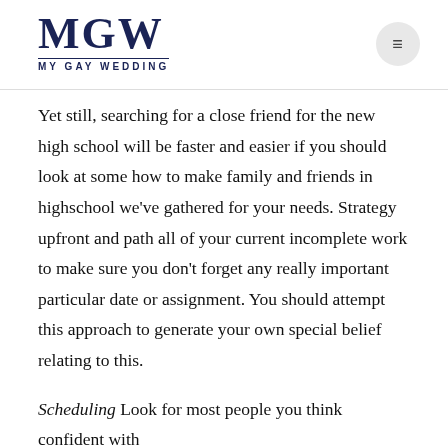MGW MY GAY WEDDING
Yet still, searching for a close friend for the new high school will be faster and easier if you should look at some how to make family and friends in highschool we've gathered for your needs. Strategy upfront and path all of your current incomplete work to make sure you don't forget any really important particular date or assignment. You should attempt this approach to generate your own special belief relating to this.
Scheduling Look for most people you think confident with